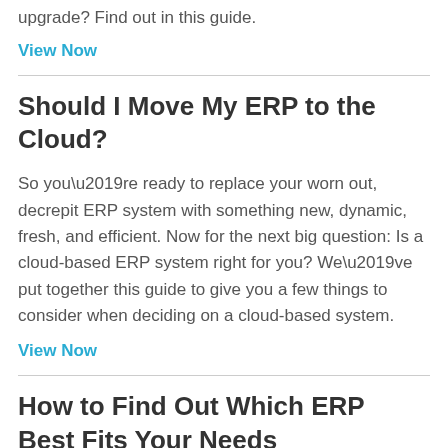upgrade? Find out in this guide.
View Now
Should I Move My ERP to the Cloud?
So you’re ready to replace your worn out, decrepit ERP system with something new, dynamic, fresh, and efficient. Now for the next big question: Is a cloud-based ERP system right for you? We’ve put together this guide to give you a few things to consider when deciding on a cloud-based system.
View Now
How to Find Out Which ERP Best Fits Your Needs